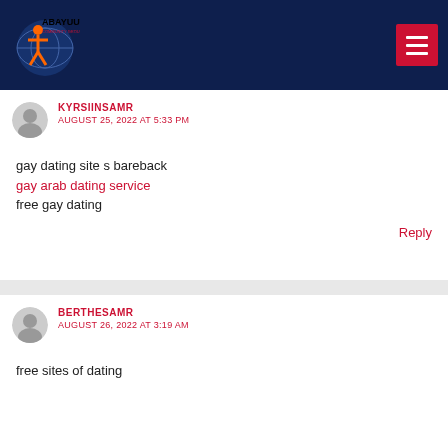ABAYUUTI COMMUNITY GROUP
KYRSIINSAMR
AUGUST 25, 2022 AT 5:33 PM
gay dating site s bareback
gay arab dating service
free gay dating
Reply
BERTHESAMR
AUGUST 26, 2022 AT 3:19 AM
free sites of dating